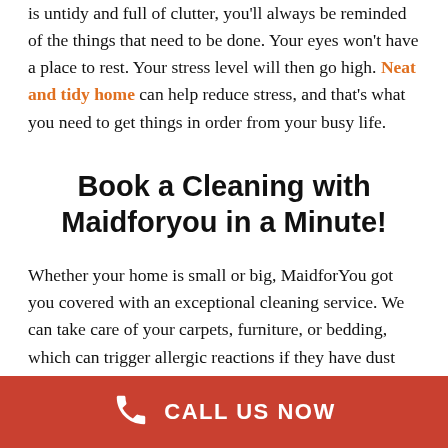is untidy and full of clutter, you'll always be reminded of the things that need to be done. Your eyes won't have a place to rest. Your stress level will then go high. Neat and tidy home can help reduce stress, and that's what you need to get things in order from your busy life.
Book a Cleaning with Maidforyou in a Minute!
Whether your home is small or big, MaidforYou got you covered with an exceptional cleaning service. We can take care of your carpets, furniture, or bedding, which can trigger allergic reactions if they have dust mites and moulds lurking. There are a lot of things that need to be
CALL US NOW